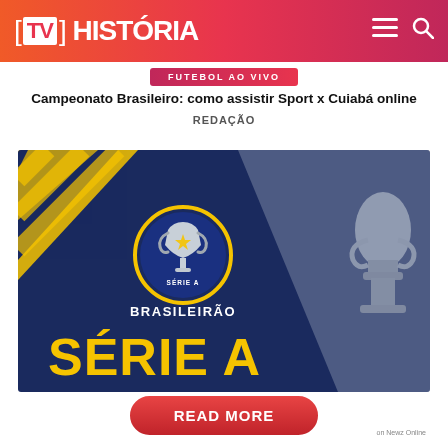[TV] HISTÓRIA
FUTEBOL AO VIVO
Campeonato Brasileiro: como assistir Sport x Cuiabá online
REDAÇÃO
[Figure (illustration): Brasileirão Série A promotional image with navy blue and yellow background, trophy logo, text BRASILEIRÃO and SÉRIE A in bold yellow letters, with a trophy visible on the right side]
READ MORE
on Newz Online